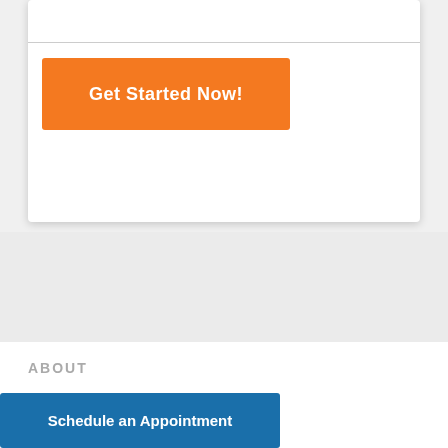[Figure (screenshot): Orange 'Get Started Now!' call-to-action button inside a white card with drop shadow, on a light gray background]
ABOUT
About Us
[Figure (screenshot): Blue 'Schedule an Appointment' call-to-action button at the bottom of the page]